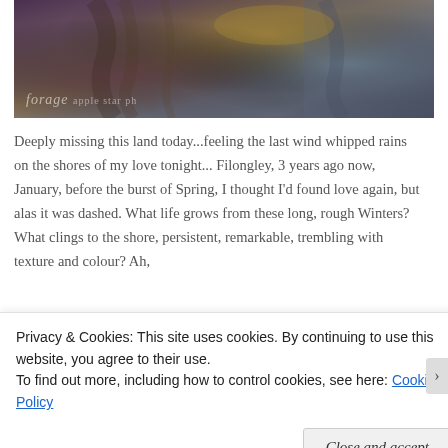[Figure (photo): Close-up nature/texture photo showing rough bark or driftwood with brown, golden, and blue-grey tones. Watermark reads 'forage apple star ph...' in bottom-left corner.]
Deeply missing this land today...feeling the last wind whipped rains on the shores of my love tonight... Filongley, 3 years ago now, January, before the burst of Spring, I thought I'd found love again, but alas it was dashed. What life grows from these long, rough Winters? What clings to the shore, persistent, remarkable, trembling with texture and colour? Ah,
Privacy & Cookies: This site uses cookies. By continuing to use this website, you agree to their use.
To find out more, including how to control cookies, see here: Cookie Policy
Close and accept